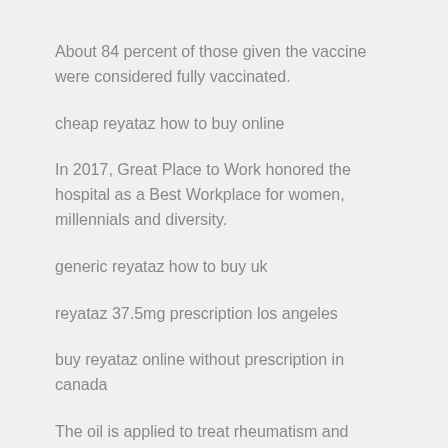About 84 percent of those given the vaccine were considered fully vaccinated.
cheap reyataz how to buy online
In 2017, Great Place to Work honored the hospital as a Best Workplace for women, millennials and diversity.
generic reyataz how to buy uk
reyataz 37.5mg prescription los angeles
buy reyataz online without prescription in canada
The oil is applied to treat rheumatism and burns, and a paste of the seeds is used as a poultice to treat scabies.
cheapest reyataz order payment uk